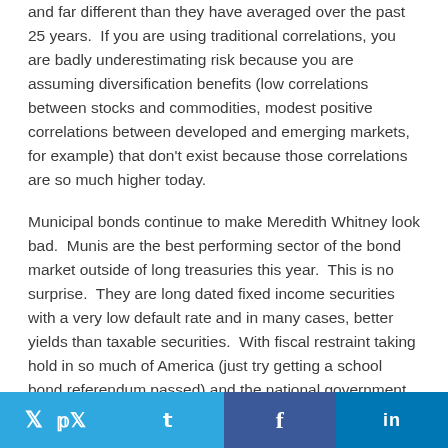and far different than they have averaged over the past 25 years.  If you are using traditional correlations, you are badly underestimating risk because you are assuming diversification benefits (low correlations between stocks and commodities, modest positive correlations between developed and emerging markets, for example) that don't exist because those correlations are so much higher today.
Municipal bonds continue to make Meredith Whitney look bad.  Munis are the best performing sector of the bond market outside of long treasuries this year.  This is no surprise.  They are long dated fixed income securities with a very low default rate and in many cases, better yields than taxable securities.  With fiscal restraint taking hold in so much of America (just try getting a school bond referendum passed) and the national government and state governments less generous, fewer new projects means less issuance, which improves the supply-demand equation.  I have been looking for the right time to move money from Legg Mason
Twitter  Facebook  LinkedIn